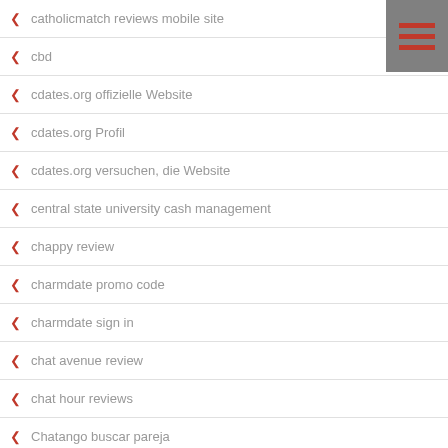catholicmatch reviews mobile site
cbd
cdates.org offizielle Website
cdates.org Profil
cdates.org versuchen, die Website
central state university cash management
chappy review
charmdate promo code
charmdate sign in
chat avenue review
chat hour reviews
Chatango buscar pareja